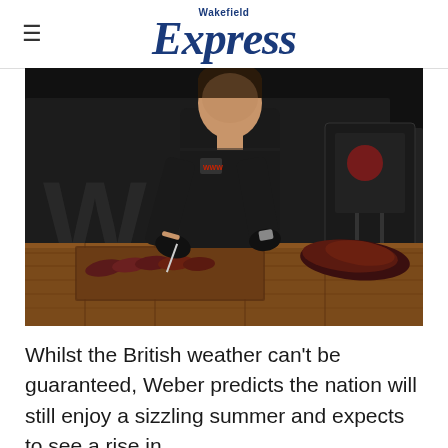Wakefield Express
[Figure (photo): A chef dressed in black, wearing black gloves, slicing grilled/barbecued meat on a wooden chopping board at a wooden table. Weber barbecue equipment and branding visible in the background.]
Whilst the British weather can't be guaranteed, Weber predicts the nation will still enjoy a sizzling summer and expects to see a rise in